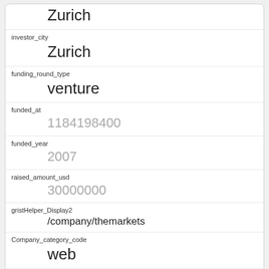Zurich
investor_city
Zurich
funding_round_type
venture
funded_at
1184198400
funded_year
2007
raised_amount_usd
30000000
gristHelper_Display2
/company/themarkets
Company_category_code
web
Investor
Credit Suisse
https://www.crunchbase.com/financial-organization/credit-suisse
id